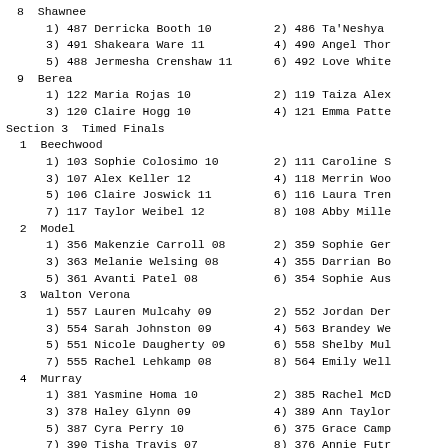8  Shawnee
1) 487 Derricka Booth 10     2) 486 Ta'Neshya
3) 491 Shakeara Ware 11      4) 490 Angel Thor
5) 488 Jermesha Crenshaw 11  6) 492 Love White
9  Berea
1) 122 Maria Rojas 10        2) 119 Taiza Alex
3) 120 Claire Hogg 10        4) 121 Emma Patte
Section 3  Timed Finals
1  Beechwood
1) 103 Sophie Colosimo 10    2) 111 Caroline S
3) 107 Alex Keller 12        4) 118 Merrin Woo
5) 106 Claire Joswick 11     6) 116 Laura Tren
7) 117 Taylor Weibel 12      8) 108 Abby Mille
2  Model
1) 356 Makenzie Carroll 08   2) 359 Sophie Ger
3) 363 Melanie Welsing 08    4) 355 Darrian Bo
5) 361 Avanti Patel 08       6) 354 Sophie Aus
3  Walton Verona
1) 557 Lauren Mulcahy 09     2) 552 Jordan Der
3) 554 Sarah Johnston 09     4) 563 Brandey We
5) 551 Nicole Daugherty 09   6) 558 Shelby Mul
7) 555 Rachel Lehkamp 08     8) 564 Emily Well
4  Murray
1) 381 Yasmine Homa 10       2) 385 Rachel McD
3) 378 Haley Glynn 09        4) 389 Ann Taylor
5) 387 Cyra Perry 10         6) 375 Grace Camp
7) 390 Tisha Travis 07       8) 376 Annie Futr
5  Glasgow
1) 207 Hydeia Depp 12        2) 209 Brianna Gi
3) 206 Skyler Burd 09        4) 214 Saige Sto